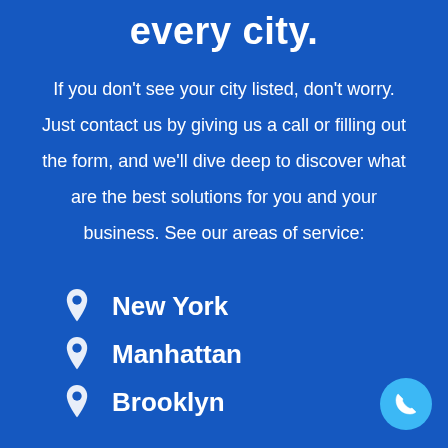every city.
If you don't see your city listed, don't worry. Just contact us by giving us a call or filling out the form, and we'll dive deep to discover what are the best solutions for you and your business. See our areas of service:
New York
Manhattan
Brooklyn